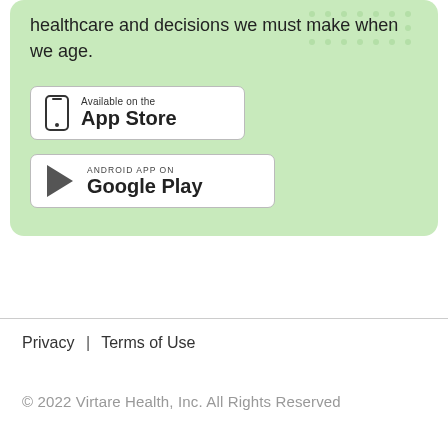healthcare and decisions we must make when we age.
[Figure (other): Available on the App Store badge - white rectangle with phone icon and text 'Available on the App Store']
[Figure (other): Android App on Google Play badge - white rectangle with Google Play triangle logo and text 'ANDROID APP ON Google Play']
Privacy  |  Terms of Use
© 2022 Virtare Health, Inc.  All Rights Reserved